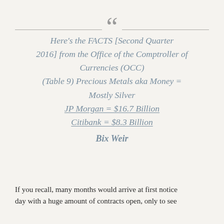Here's the FACTS [Second Quarter 2016] from the Office of the Comptroller of Currencies (OCC) (Table 9) Precious Metals aka Money = Mostly Silver JP Morgan = $16.7 Billion Citibank = $8.3 Billion Bix Weir
If you recall, many months would arrive at first notice day with a huge amount of contracts open, only to see